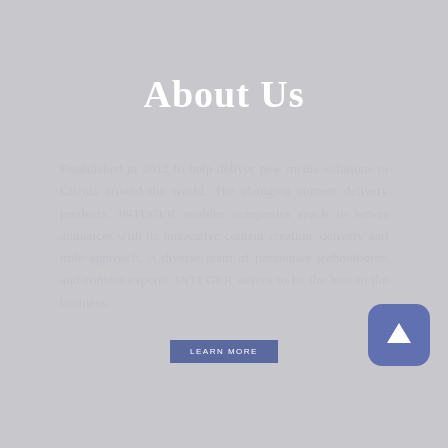About Us
Established in 2012 to help deliver new media solutions to Clients around the world. The changing content delivery products. INTEGER enables companies reach to newer audiences with its innovative content creation, delivery and mile approach. A diverse team of passionate technologists and content experts. INTEGER strives to be the best in the business.
LEARN MORE